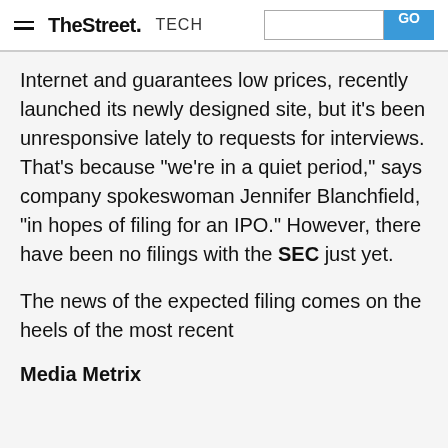TheStreet TECH
Internet and guarantees low prices, recently launched its newly designed site, but it's been unresponsive lately to requests for interviews. That's because "we're in a quiet period," says company spokeswoman Jennifer Blanchfield, "in hopes of filing for an IPO." However, there have been no filings with the SEC just yet.
The news of the expected filing comes on the heels of the most recent
Media Metrix